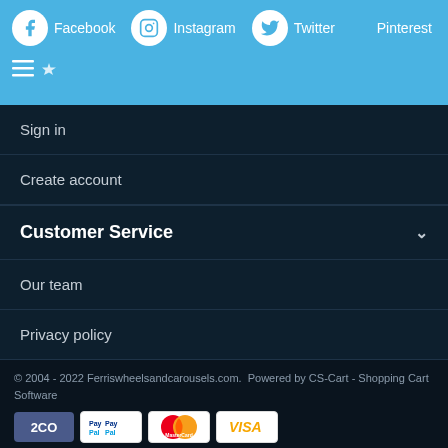[Figure (screenshot): Social media icons row: Facebook, Instagram, Twitter, Pinterest on blue background]
Sign in
Create account
Customer Service
Our team
Privacy policy
© 2004 - 2022 Ferriswheelsandcarousels.com.  Powered by CS-Cart - Shopping Cart Software
[Figure (screenshot): Payment method logos: 2CO, PayPal, MasterCard, VISA]